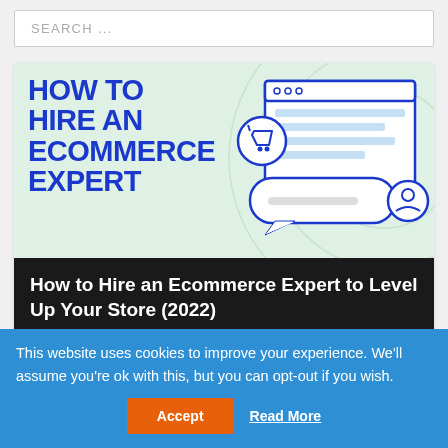SEARCH ...
[Figure (infographic): How to Hire an Ecommerce Expert infographic banner with blue bold text on mint-green background and browser/chat window illustration with shopping cart icon on the right]
How to Hire an Ecommerce Expert to Level Up Your Store (2022)
This website uses cookies to improve your experience. We'll assume you're ok with this, but you can opt-out if you wish.
Accept
Read More